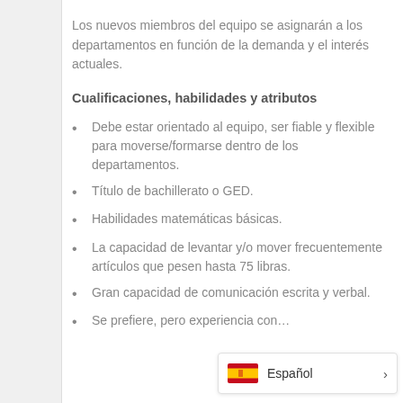Los nuevos miembros del equipo se asignarán a los departamentos en función de la demanda y el interés actuales.
Cualificaciones, habilidades y atributos
Debe estar orientado al equipo, ser fiable y flexible para moverse/formarse dentro de los departamentos.
Título de bachillerato o GED.
Habilidades matemáticas básicas.
La capacidad de levantar y/o mover frecuentemente artículos que pesen hasta 75 libras.
Gran capacidad de comunicación escrita y verbal.
Se prefiere, pero experiencia con…